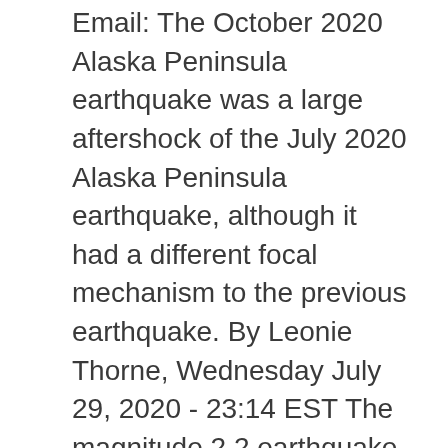Email: The October 2020 Alaska Peninsula earthquake was a large aftershock of the July 2020 Alaska Peninsula earthquake, although it had a different focal mechanism to the previous earthquake. By Leonie Thorne, Wednesday July 29, 2020 - 23:14 EST The magnitude 2.2 earthquake was recorded near Pakenham just after 7:00pm. The earthquake tremor was felt by the residents across Melbourne's east. Pinterest. The tremblor hit at 4:29 a.m., according to the U.S. Geological Survey. [Earthquake and Seismic Intensity Information] The map and text below show the following details : a) the observed Seismic Intensity (1 and above) and its location and region, b) the date and time of the earthquake, and There...